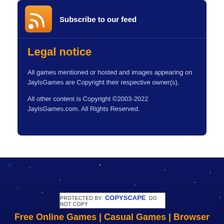[Figure (logo): Orange RSS feed icon square with white wifi-style signal lines]
Subscribe to our feed
Legal notice
All games mentioned or hosted and images appearing on JayIsGames are Copyright their respective owner(s).
All other content is Copyright ©2003-2022 JayIsGames.com. All Rights Reserved.
K
[Figure (screenshot): Copyscape protected badge: PROTECTED BY COPYSCAPE DO NOT COPY]
Free Online Games | Casual Games | Browser Games |